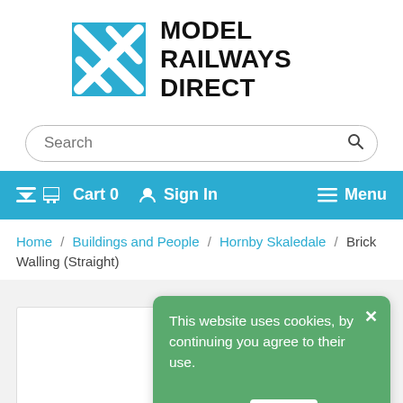[Figure (logo): Model Railways Direct logo: blue square with white X cross-track pattern, next to bold text MODEL RAILWAYS DIRECT]
Search
Cart 0   Sign In   Menu
Home / Buildings and People / Hornby Skaledale / Brick Walling (Straight)
This website uses cookies, by continuing you agree to their use. Learn more OK